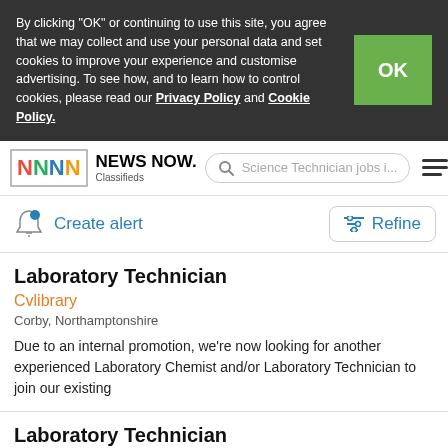By clicking “OK” or continuing to use this site, you agree that we may collect and use your personal data and set cookies to improve your experience and customise advertising. To see how, and to learn how to control cookies, please read our Privacy Policy and Cookie Policy.
[Figure (screenshot): NEWS NOW. Classifieds logo with colorful N icon in a bordered box]
Science Technician jobs i...
Create alert
Refine
Laboratory Technician
Cvlibrary
Corby, Northamptonshire
Due to an internal promotion, we’re now looking for another experienced Laboratory Chemist and/or Laboratory Technician to join our existing
Laboratory Technician
Cvlibrary
Oundle, Northamptonshire
Due to an internal promotion, we’re now looking for another experienced Laboratory Chemist and/or Laboratory Technician to join our existing